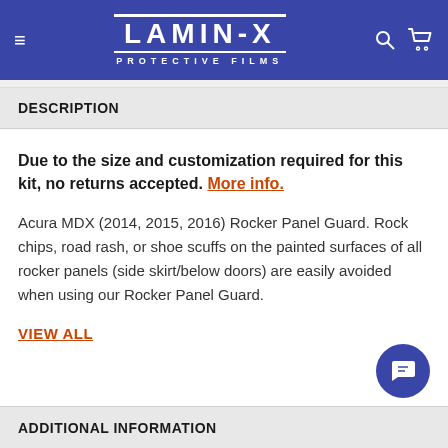LAMINX PROTECTIVE FILMS
DESCRIPTION
Due to the size and customization required for this kit, no returns accepted. More info.
Acura MDX (2014, 2015, 2016) Rocker Panel Guard. Rock chips, road rash, or shoe scuffs on the painted surfaces of all rocker panels (side skirt/below doors) are easily avoided when using our Rocker Panel Guard.
VIEW ALL
ADDITIONAL INFORMATION